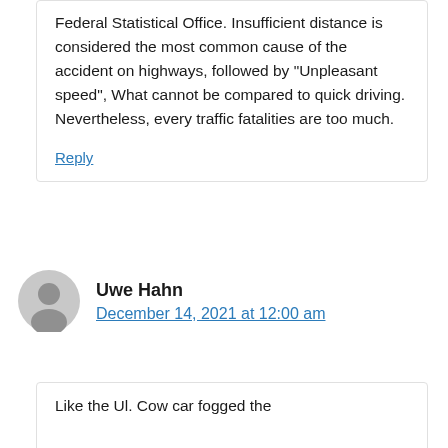Federal Statistical Office. Insufficient distance is considered the most common cause of the accident on highways, followed by "Unpleasant speed", What cannot be compared to quick driving. Nevertheless, every traffic fatalities are too much.
Reply
Uwe Hahn
December 14, 2021 at 12:00 am
Like the Ul. Cow car fogged the